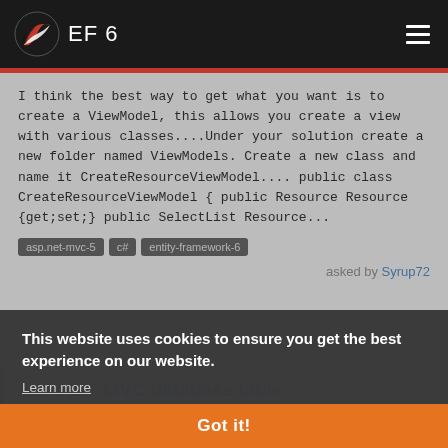EF 6
I think the best way to get what you want is to create a ViewModel, this allows you create a view with various classes....Under your solution create a new folder named ViewModels. Create a new class and name it CreateResourceViewModel.... public class CreateResourceViewModel { public Resource Resource {get;set;} public SelectList Resource...
asp.net-mvc-5
c#
entity-framework-6
asked by Syrup72
This website uses cookies to ensure you get the best experience on our website.
Learn more
ASP.NET MVC database table getting null value
property before the associated EditorFor() method